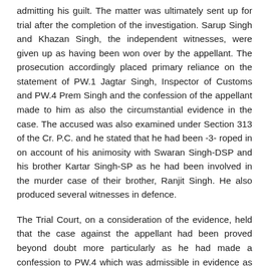admitting his guilt. The matter was ultimately sent up for trial after the completion of the investigation. Sarup Singh and Khazan Singh, the independent witnesses, were given up as having been won over by the appellant. The prosecution accordingly placed primary reliance on the statement of PW.1 Jagtar Singh, Inspector of Customs and PW.4 Prem Singh and the confession of the appellant made to him as also the circumstantial evidence in the case. The accused was also examined under Section 313 of the Cr. P.C. and he stated that he had been -3- roped in on account of his animosity with Swaran Singh-DSP and his brother Kartar Singh-SP as he had been involved in the murder case of their brother, Ranjit Singh. He also produced several witnesses in defence.
The Trial Court, on a consideration of the evidence, held that the case against the appellant had been proved beyond doubt more particularly as he had made a confession to PW.4 which was admissible in evidence as PW.4 was not a police officer. It was also found that the provisions of Section 50 of the Act had been complied with as Ex. P.A., a consent memo, had been drawn up prior to the search. The Trial